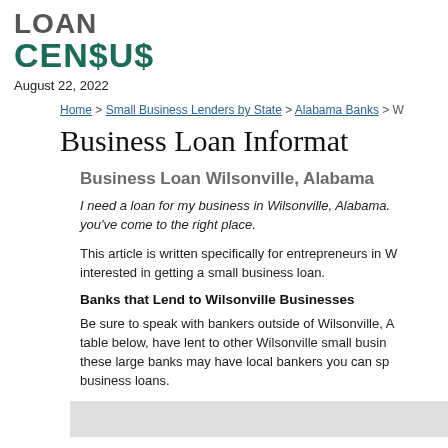LOAN CENSUS
August 22, 2022
Home > Small Business Lenders by State > Alabama Banks > W
Business Loan Informat
Business Loan Wilsonville, Alabama
I need a loan for my business in Wilsonville, Alabama. you've come to the right place.
This article is written specifically for entrepreneurs in W interested in getting a small business loan.
Banks that Lend to Wilsonville Businesses
Be sure to speak with bankers outside of Wilsonville, A table below, have lent to other Wilsonville small busine these large banks may have local bankers you can sp business loans.